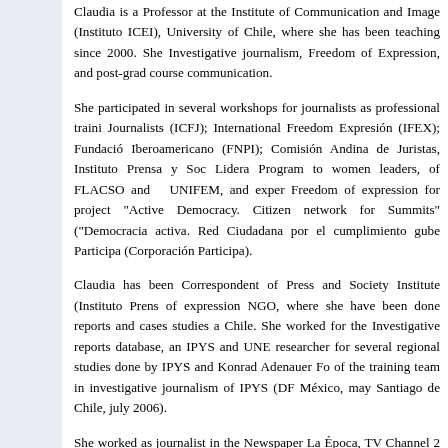Claudia is a Professor at the Institute of Communication and Image (Instituto ICEI), University of Chile, where she has been teaching since 2000. She Investigative journalism, Freedom of Expression, and post-grad course communication.
She participated in several workshops for journalists as professional traini Journalists (ICFJ); International Freedom Expresión (IFEX); Fundació Iberoamericano (FNPI); Comisión Andina de Juristas, Instituto Prensa y Soc Lidera Program to women leaders, of FLACSO and UNIFEM, and exper Freedom of expression for project "Active Democracy. Citizen network for Summits" ("Democracia activa. Red Ciudadana por el cumplimiento gube Participa (Corporación Participa).
Claudia has been Correspondent of Press and Society Institute (Instituto Prens of expression NGO, where she have been done reports and cases studies a Chile. She worked for the Investigative reports database, an IPYS and UNE researcher for several regional studies done by IPYS and Konrad Adenauer Fo of the training team in investigative journalism of IPYS (DF México, may Santiago de Chile, july 2006).
She worked as journalist in the Newspaper La Época, TV Channel 2 (Cana collaborated with Surcos magazine and with www.elmostrador.cl and she' Angeles Times correspondent office for South Cone, with offices in Bueno